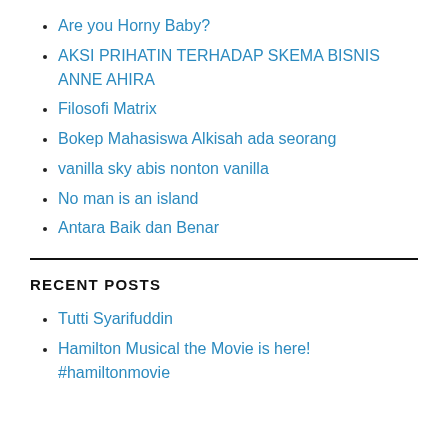Are you Horny Baby?
AKSI PRIHATIN TERHADAP SKEMA BISNIS ANNE AHIRA
Filosofi Matrix
Bokep Mahasiswa Alkisah ada seorang
vanilla sky abis nonton vanilla
No man is an island
Antara Baik dan Benar
RECENT POSTS
Tutti Syarifuddin
Hamilton Musical the Movie is here! #hamiltonmovie